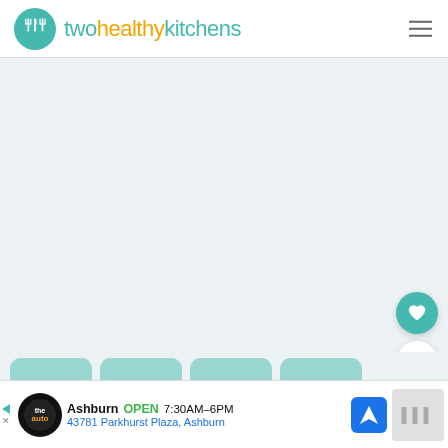[Figure (logo): Two Healthy Kitchens website logo with teal circle icon containing fork and knife, followed by site name in teal and orange colors]
[Figure (screenshot): Main website content area showing light teal/grey background, blank content region]
[Figure (infographic): Floating action buttons: teal heart/save button and white share button on right side]
[Figure (screenshot): What's Next panel showing thumbnail image and text '5-Minute Savory...']
[Figure (screenshot): Advertisement banner for the auto repair shop in Ashburn: OPEN 7:30AM-6PM, 43781 Parkhurst Plaza, Ashburn]